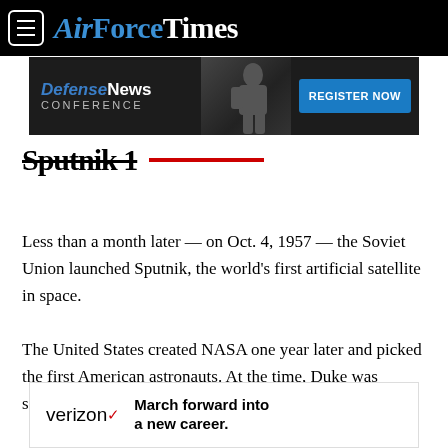AirForceTimes
[Figure (screenshot): Defense News Conference advertisement banner with 'REGISTER NOW' button]
Sputnik 1 [partial, with red underline decoration]
Less than a month later — on Oct. 4, 1957 — the Soviet Union launched Sputnik, the world's first artificial satellite in space.
The United States created NASA one year later and picked the first American astronauts. At the time, Duke was serving in the
[Figure (screenshot): Verizon advertisement: 'March forward into a new career.']